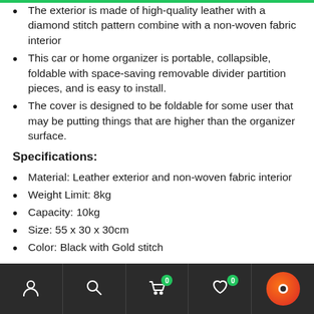The exterior is made of high-quality leather with a diamond stitch pattern combine with a non-woven fabric interior
This car or home organizer is portable, collapsible, foldable with space-saving removable divider partition pieces, and is easy to install.
The cover is designed to be foldable for some user that may be putting things that are higher than the organizer surface.
Specifications:
Material: Leather exterior and non-woven fabric interior
Weight Limit: 8kg
Capacity: 10kg
Size: 55 x 30 x 30cm
Color: Black with Gold stitch
Navigation bar with icons: user, search, cart (0), wishlist (0), chat